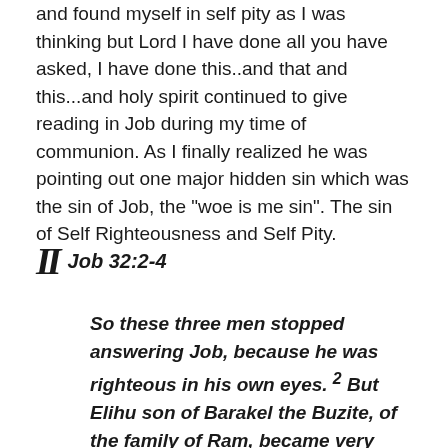and found myself in self pity as I was thinking but Lord I have done all you have asked, I have done this..and that and this...and holy spirit continued to give reading in Job during my time of communion. As I finally realized he was pointing out one major hidden sin which was the sin of Job, the "woe is me sin". The sin of Self Righteousness and Self Pity.
Job 32:2-4
So these three men stopped answering Job, because he was righteous in his own eyes. 2 But Elihu son of Barakel the Buzite, of the family of Ram, became very angry with Job for justifying himself rather than God. 3 He was also